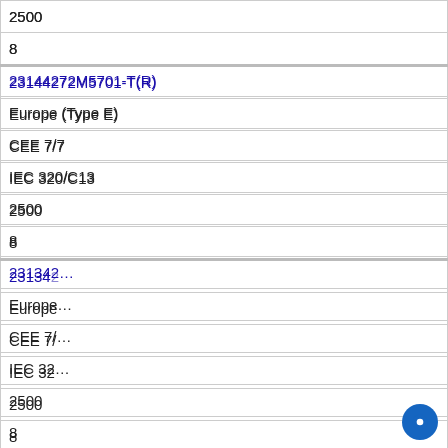| 2500 |
| 8 |
| 23144272M5701-T(R) |
| Europe (Type E) |
| CEE 7/7 |
| IEC 320/C13 |
| 2500 |
| 8 |
| 23134… |
| Europe… |
| CEE 7/… |
| IEC 32… |
| 2500 |
| 8 |
| 205IN4… |
| India (Type D) |
| India IS 1293 (also known as IA16A3 or BS546) |
Cookies & Privacy
This website uses cookies to ensure you get the best experience on our website. More information